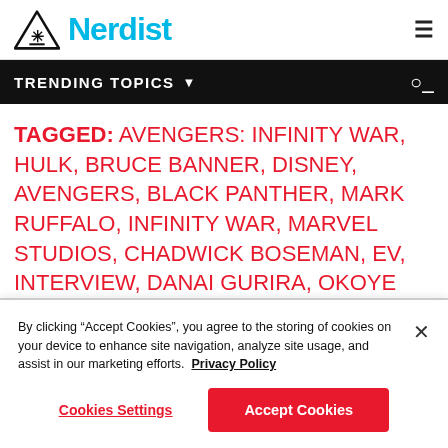Nerdist
TRENDING TOPICS
TAGGED: AVENGERS: INFINITY WAR, HULK, BRUCE BANNER, DISNEY, AVENGERS, BLACK PANTHER, MARK RUFFALO, INFINITY WAR, MARVEL STUDIOS, CHADWICK BOSEMAN, EV, INTERVIEW, DANAI GURIRA, OKOYE
By clicking “Accept Cookies”, you agree to the storing of cookies on your device to enhance site navigation, analyze site usage, and assist in our marketing efforts. Privacy Policy